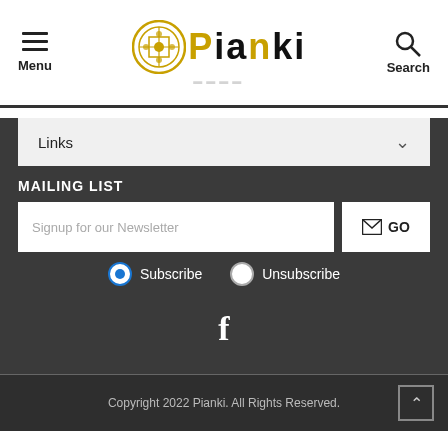Menu | Pianki | Search
Links
MAILING LIST
Signup for our Newsletter
GO
Subscribe  Unsubscribe
[Figure (logo): Facebook icon (f)]
Copyright 2022 Pianki. All Rights Reserved.